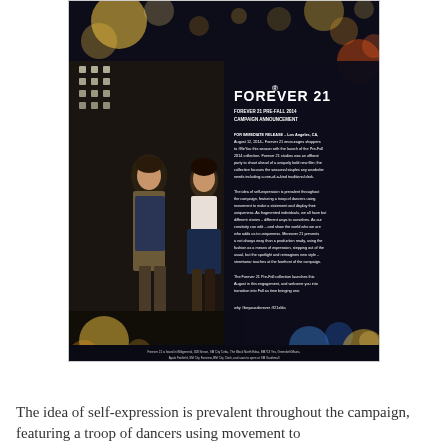[Figure (photo): Forever 21 press release advertisement/campaign image. Dark background with bokeh light effects. Two fashion models (male and female) standing in what appears to be a stage/backstage setting with studio lights. The right side contains white text with the Forever 21 logo and press release body copy. Bottom has small credits text.]
The idea of self-expression is prevalent throughout the campaign, featuring a troop of dancers using movement to